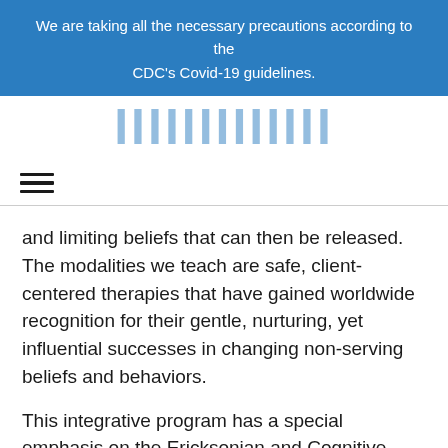We are taking all the necessary precautions according to the CDC's Covid-19 guidelines.
[Figure (logo): Partially visible logo text in blue, cropped at top]
[Figure (other): Hamburger/menu icon (three horizontal lines)]
and limiting beliefs that can then be released. The modalities we teach are safe, client-centered therapies that have gained worldwide recognition for their gentle, nurturing, yet influential successes in changing non-serving beliefs and behaviors.
This integrative program has a special emphasis on the Ericksonian and Cognitive Behavioral approach to hypnotherapy. This is a collaborative process